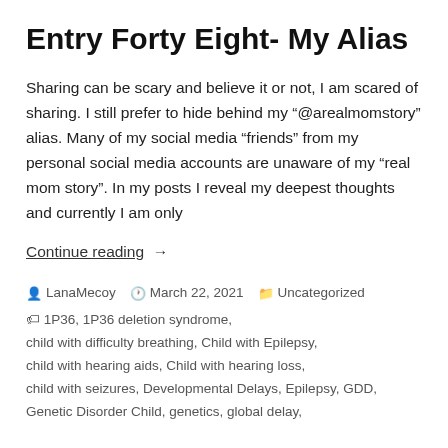Entry Forty Eight- My Alias
Sharing can be scary and believe it or not, I am scared of sharing. I still prefer to hide behind my "@arealmomstory" alias. Many of my social media "friends" from my personal social media accounts are unaware of my "real mom story". In my posts I reveal my deepest thoughts and currently I am only
Continue reading →
LanaMecoy   March 22, 2021   Uncategorized
🏷 1P36, 1P36 deletion syndrome,
child with difficulty breathing, Child with Epilepsy,
child with hearing aids, Child with hearing loss,
child with seizures, Developmental Delays, Epilepsy, GDD,
Genetic Disorder Child, genetics, global delay,